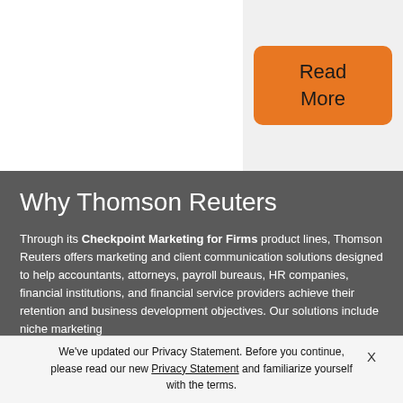[Figure (other): Orange 'Read More' button on light grey background in top-right corner]
Why Thomson Reuters
Through its Checkpoint Marketing for Firms product lines, Thomson Reuters offers marketing and client communication solutions designed to help accountants, attorneys, payroll bureaus, HR companies, financial institutions, and financial service providers achieve their retention and business development objectives. Our solutions include niche marketing
X
We've updated our Privacy Statement. Before you continue, please read our new Privacy Statement and familiarize yourself with the terms.